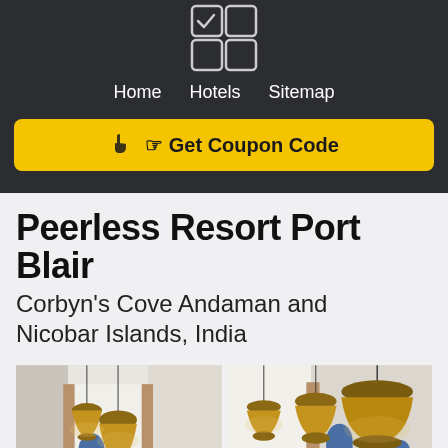[Figure (logo): 2x2 grid of icons, top-left has a checkmark, others are empty squares]
Home   Hotels   Sitemap
☞ Get Coupon Code
Peerless Resort Port Blair
Corbyn's Cove Andaman and Nicobar Islands, India
[Figure (photo): Two side-by-side interior photos of a resort showing hanging wicker pendant lights, white walls with blue arched alcoves, and wooden partition elements]